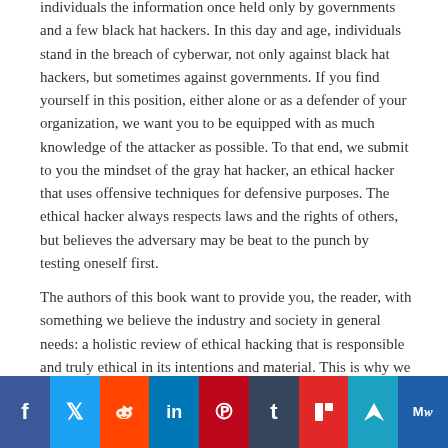individuals the information once held only by governments and a few black hat hackers. In this day and age, individuals stand in the breach of cyberwar, not only against black hat hackers, but sometimes against governments. If you find yourself in this position, either alone or as a defender of your organization, we want you to be equipped with as much knowledge of the attacker as possible. To that end, we submit to you the mindset of the gray hat hacker, an ethical hacker that uses offensive techniques for defensive purposes. The ethical hacker always respects laws and the rights of others, but believes the adversary may be beat to the punch by testing oneself first.
The authors of this book want to provide you, the reader, with something we believe the industry and society in general needs: a holistic review of ethical hacking that is responsible and truly ethical in its intentions and material. This is why we keep releasing new editions of this book with a clear definition of what ethical hacking is and is not something our society is very conf... editi...
[Figure (other): Social media sharing bar with icons for Facebook, Twitter, Reddit, LinkedIn, Pinterest, Tumblr, Flipboard, ShareThis, and MeWe]